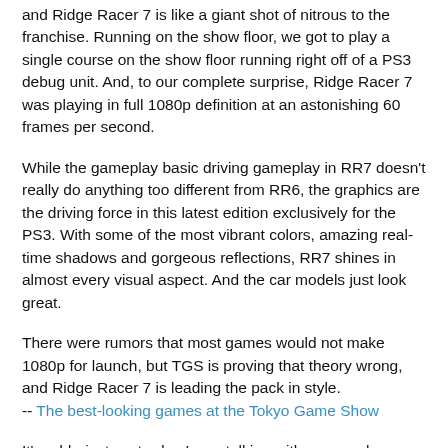and Ridge Racer 7 is like a giant shot of nitrous to the franchise. Running on the show floor, we got to play a single course on the show floor running right off of a PS3 debug unit. And, to our complete surprise, Ridge Racer 7 was playing in full 1080p definition at an astonishing 60 frames per second.
While the gameplay basic driving gameplay in RR7 doesn't really do anything too different from RR6, the graphics are the driving force in this latest edition exclusively for the PS3. With some of the most vibrant colors, amazing real-time shadows and gorgeous reflections, RR7 shines in almost every visual aspect. And the car models just look great.
There were rumors that most games would not make 1080p for launch, but TGS is proving that theory wrong, and Ridge Racer 7 is leading the pack in style.
-- The best-looking games at the Tokyo Game Show
It's odd - just yesterday I was talking with a co-worker about HDTV. He had been by the Sony Store and wasn't precisely impressed. I guess they had some Blu-Ray movie running at